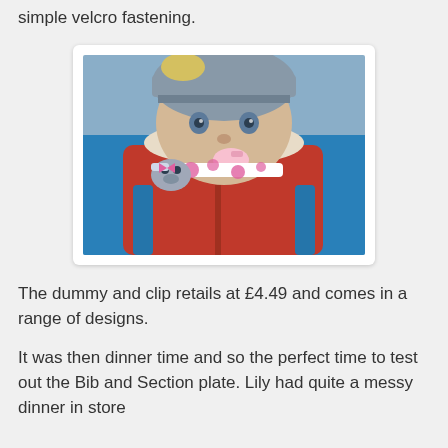simple velcro fastening.
[Figure (photo): A baby wearing a grey knitted hat and red winter jacket, using a pink dummy/pacifier attached to a decorative clip with polka dot pattern and animal character design.]
The dummy and clip retails at £4.49 and comes in a range of designs.
It was then dinner time and so the perfect time to test out the Bib and Section plate. Lily had quite a messy dinner in store